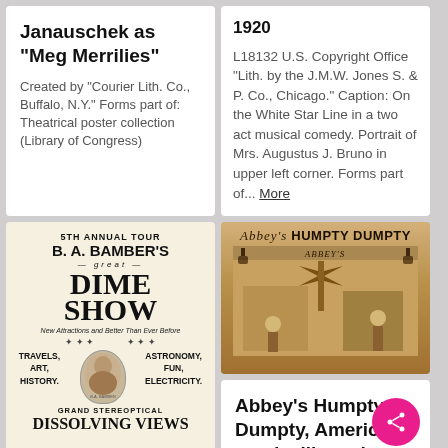Janauschek as "Meg Merrilies"
Created by "Courier Lith. Co., Buffalo, N.Y." Forms part of: Theatrical poster collection (Library of Congress)
1920 L18132 U.S. Copyright Office "Lith. by the J.M.W. Jones S. & P. Co., Chicago." Caption: On the White Star Line in a two act musical comedy. Portrait of Mrs. Augustus J. Bruno in upper left corner. Forms part of... More
[Figure (photo): Vintage theatrical poster for '5th Annual Tour B. A. Bamber's Great Dime Show' with portrait of B.A. Bamber and text listing Travels, Art, History, Astronomy, Fun, Electricity. Grand Stereoptical Dissolving Views.]
[Figure (photo): Vintage theatrical poster for Abbey's Humpty Dumpty showing colorful illustrated scenes with performers and acrobats.]
Abbey's Humpty Dumpty, American vaudeville and popular